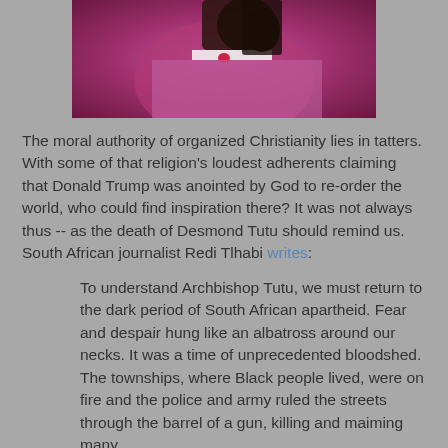[Figure (photo): Photograph of a person wearing a pink/magenta clerical robe, with a hand raised near their face, cropped to show chest and lower face/hand area]
The moral authority of organized Christianity lies in tatters. With some of that religion's loudest adherents claiming that Donald Trump was anointed by God to re-order the world, who could find inspiration there? It was not always thus -- as the death of Desmond Tutu should remind us. South African journalist Redi Tlhabi writes:
To understand Archbishop Tutu, we must return to the dark period of South African apartheid. Fear and despair hung like an albatross around our necks. It was a time of unprecedented bloodshed. The townships, where Black people lived, were on fire and the police and army ruled the streets through the barrel of a gun, killing and maiming many.
That's when a diminutive clergyman came into the scene. He walked through the streets of the burning townships, confronting the police,